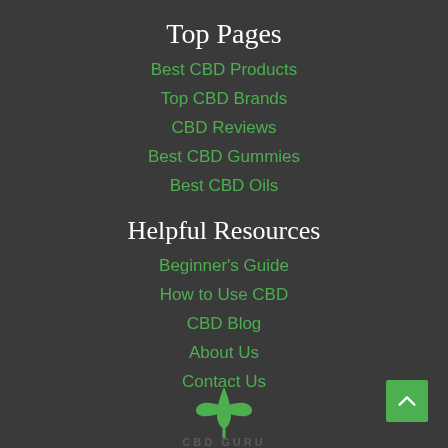Top Pages
Best CBD Products
Top CBD Brands
CBD Reviews
Best CBD Gummies
Best CBD Oils
Helpful Resources
Beginner's Guide
How to Use CBD
CBD Blog
About Us
Contact Us
[Figure (logo): CBD Guru logo with green cannabis leaf design and text at the bottom of the page]